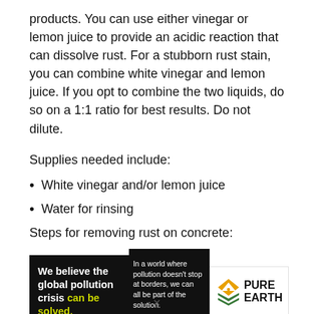products. You can use either vinegar or lemon juice to provide an acidic reaction that can dissolve rust. For a stubborn rust stain, you can combine white vinegar and lemon juice. If you opt to combine the two liquids, do so on a 1:1 ratio for best results. Do not dilute.
Supplies needed include:
White vinegar and/or lemon juice
Water for rinsing
Steps for removing rust on concrete:
[Figure (infographic): Pure Earth advertisement banner: black background with bold text 'We believe the global pollution crisis can be solved.' (can be solved in yellow-green), a tagline 'In a world where pollution doesn't stop at borders, we can all be part of the solution.' and 'JOIN US.' in gold. Pure Earth logo on white background to the right.]
×